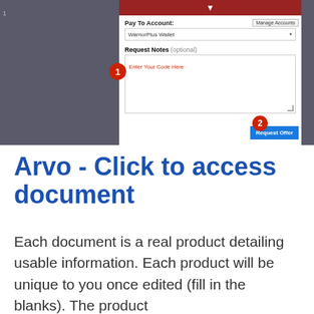[Figure (screenshot): Screenshot of a WarriorPlus payment request form showing 'Pay To Account' dropdown set to 'WarriorPlus Wallet', a 'Request Notes (optional)' textarea with placeholder 'Enter Your Code Here', and a 'Request Offer' button. Two numbered red circle badges label steps 1 and 2.]
Arvo - Click to access document
Each document is a real product detailing usable information. Each product will be unique to you once edited (fill in the blanks). The product